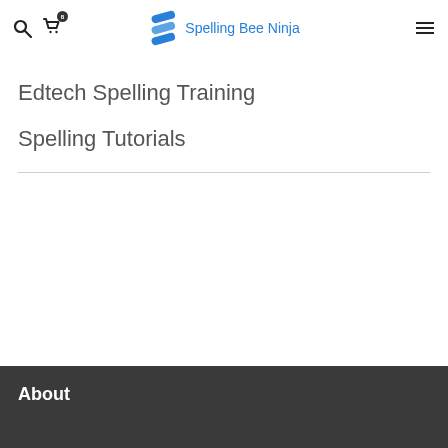Spelling Bee Ninja
Edtech Spelling Training
Spelling Tutorials
About